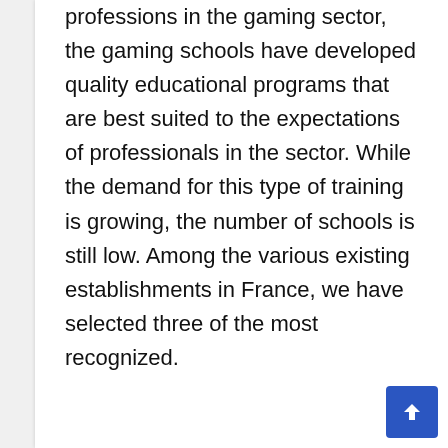In order to best train young people in new professions in the gaming sector, the gaming schools have developed quality educational programs that are best suited to the expectations of professionals in the sector. While the demand for this type of training is growing, the number of schools is still low. Among the various existing establishments in France, we have selected three of the most recognized.